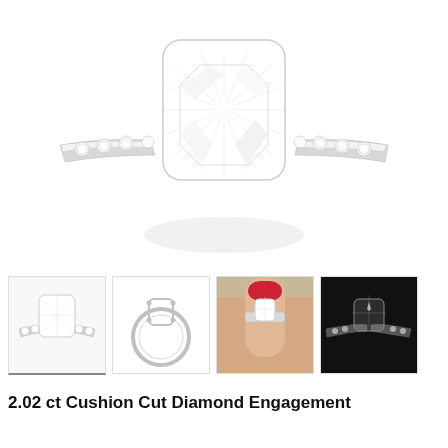[Figure (photo): Large main product photo of a diamond engagement ring with a cushion-cut center stone set in white gold/platinum with pavé-set diamonds along the band, shown against a white background.]
[Figure (photo): Thumbnail 1: Front-facing close-up of cushion-cut diamond engagement ring with pavé band.]
[Figure (photo): Thumbnail 2: Side outline/silhouette of the engagement ring showing the band circle and prong-set center stone.]
[Figure (photo): Thumbnail 3: Engagement ring worn on a woman's hand with red nail polish, photographed outdoors.]
[Figure (photo): Thumbnail 4: Dark background studio shot of the engagement ring showing sparkle.]
2.02 ct Cushion Cut Diamond Engagement